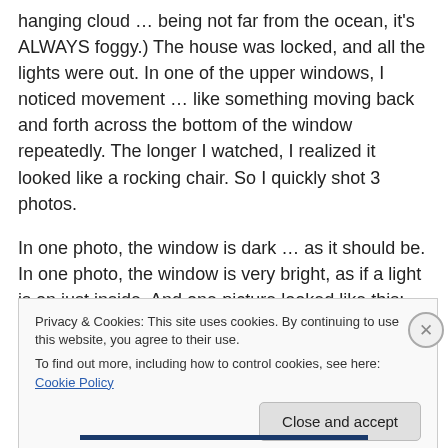hanging cloud … being not far from the ocean, it's ALWAYS foggy.) The house was locked, and all the lights were out. In one of the upper windows, I noticed movement … like something moving back and forth across the bottom of the window repeatedly. The longer I watched, I realized it looked like a rocking chair. So I quickly shot 3 photos.
In one photo, the window is dark … as it should be. In one photo, the window is very bright, as if a light is on just inside. And one picture looked like this:
Privacy & Cookies: This site uses cookies. By continuing to use this website, you agree to their use. To find out more, including how to control cookies, see here: Cookie Policy
Close and accept